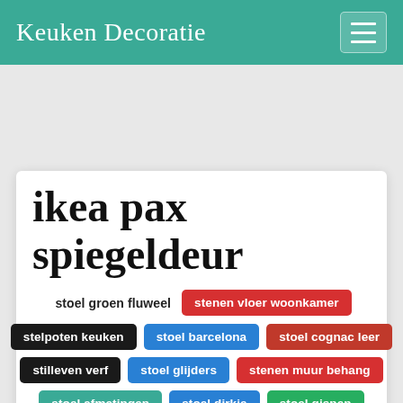Keuken Decoratie
ikea pax spiegeldeur
stoel groen fluweel
stenen vloer woonkamer
stelpoten keuken
stoel barcelona
stoel cognac leer
stilleven verf
stoel glijders
stenen muur behang
stoel afmetingen
stoel dirkje
stoel gispen
stenen dorpel badkamer
stoel make up tafel
stoel hoes
stijgerhouten tafel
stoel geel